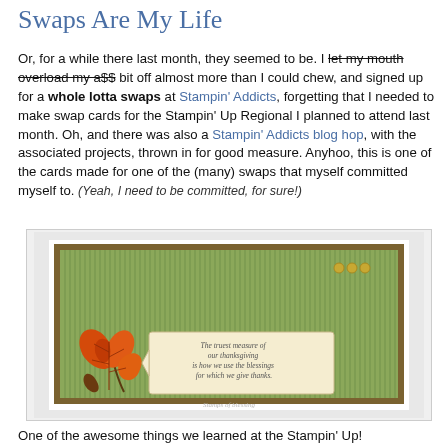Swaps Are My Life
Or, for a while there last month, they seemed to be. I let my mouth overload my a$$ bit off almost more than I could chew, and signed up for a whole lotta swaps at Stampin' Addicts, forgetting that I needed to make swap cards for the Stampin' Up Regional I planned to attend last month. Oh, and there was also a Stampin' Addicts blog hop, with the associated projects, thrown in for good measure. Anyhoo, this is one of the cards made for one of the (many) swaps that myself committed myself to. (Yeah, I need to be committed, for sure!)
[Figure (photo): A handmade greeting card with olive/brown border, green striped background, decorative brads in upper right, an autumn leaf embellishment, and a sentiment tag reading 'The truest measure of our thanksgiving is how we use the blessings for which we give thanks.']
One of the awesome things we learned at the Stampin' Up!